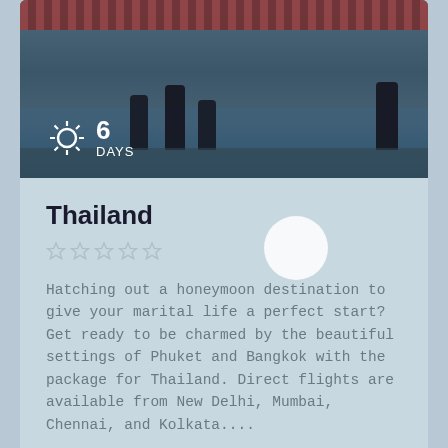[Figure (photo): Outdoor scene near water with people standing, appears to be a temple or tourist area in Thailand. Red decorative border at top. Shows silhouettes of people near a body of water with wooden structures.]
Thailand
☆ ☆ ☆ ☆ ☆
Hatching out a honeymoon destination to give your marital life a perfect start? Get ready to be charmed by the beautiful settings of Phuket and Bangkok with the package for Thailand. Direct flights are available from New Delhi, Mumbai, Chennai, and Kolkata....
₹29,999
VIEW MORE